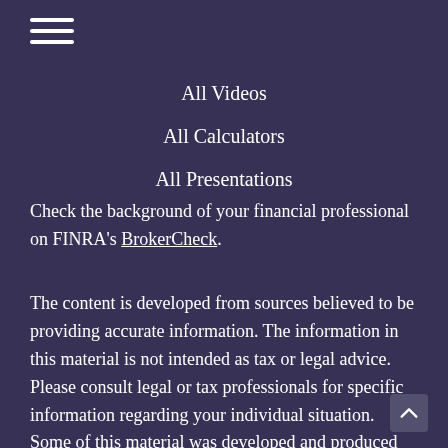[Figure (other): Hamburger menu icon with three horizontal white lines]
All Videos
All Calculators
All Presentations
Check the background of your financial professional on FINRA's BrokerCheck.
The content is developed from sources believed to be providing accurate information. The information in this material is not intended as tax or legal advice. Please consult legal or tax professionals for specific information regarding your individual situation. Some of this material was developed and produced by FMG Suite to provide information a topic that may be of interest. FMG Suite is not